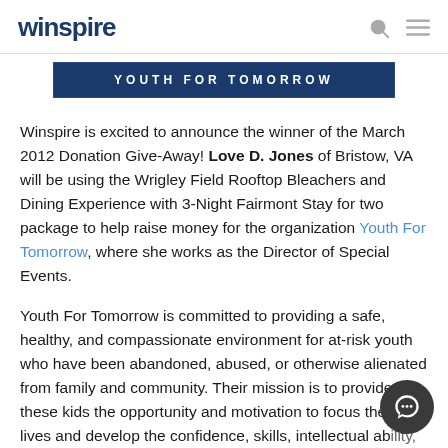winspire
[Figure (illustration): Youth For Tomorrow banner — dark navy blue background with white uppercase text 'YOUTH FOR TOMORROW' in a wide rectangular banner]
Winspire is excited to announce the winner of the March 2012 Donation Give-Away! Love D. Jones of Bristow, VA will be using the Wrigley Field Rooftop Bleachers and Dining Experience with 3-Night Fairmont Stay for two package to help raise money for the organization Youth For Tomorrow, where she works as the Director of Special Events.
Youth For Tomorrow is committed to providing a safe, healthy, and compassionate environment for at-risk youth who have been abandoned, abused, or otherwise alienated from family and community. Their mission is to provide these kids the opportunity and motivation to focus their lives and develop the confidence, skills, intellectual ability, spiritual insight and moral integrity to become responsible